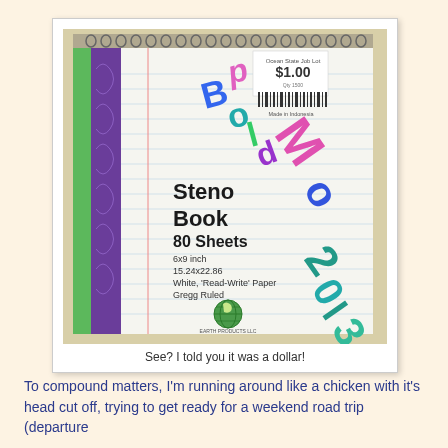[Figure (photo): A spiral-bound steno book with colorful handwritten text 'BoldMo 2013' overlaying the cover. The cover shows 'Steno Book 80 Sheets, 6x9 inch, 15.24x22.86, White Read-Write Paper, Gregg Ruled' with a $1.00 price sticker and barcode. The spine has a green and purple decorative strip.]
See? I told you it was a dollar!
To compound matters, I'm running around like a chicken with it's head cut off, trying to get ready for a weekend road trip (departure